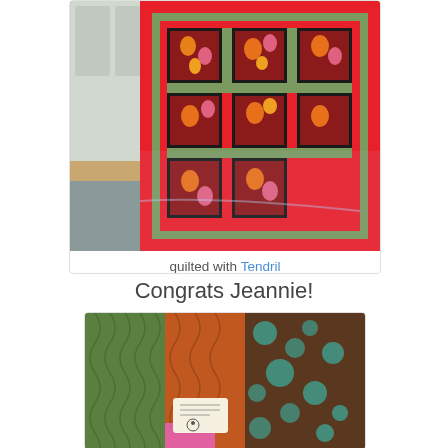[Figure (photo): Photo of a colorful quilt with red borders, green sashing, and floral/botanical print fabric squares arranged in a grid pattern, displayed on a floor with a gray mat visible]
quilted with Tendril
Congrats Jeannie!
[Figure (photo): Close-up photo of quilts with green, orange/rust, and brown/teal patterned fabrics, with a small label or tag visible]